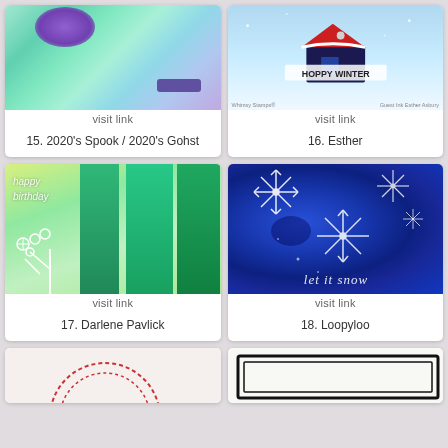[Figure (photo): Handmade card with teal/green/purple mixed media background and purple label]
visit link
15. 2020's Spook / 2020's Gohst
[Figure (photo): Handmade winter card with blue sky background, house/birdhouse with snow, Happy Winter text]
visit link
16. Esther
[Figure (photo): Handmade birthday card with teal green panels, happy birthday script, white floral silhouette]
visit link
17. Darlene Pavlick
[Figure (photo): Handmade card with blue alcohol ink background, white embossed snowflakes, let it snow script]
visit link
18. Loopyloo
[Figure (photo): Partial handmade card visible at bottom left, red circular stamp]
[Figure (photo): Partial handmade card visible at bottom right, dark border frame]